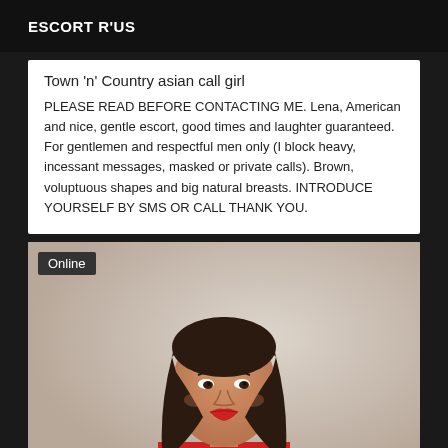ESCORT R'US
Town 'n' Country asian call girl
PLEASE READ BEFORE CONTACTING ME. Lena, American and nice, gentle escort, good times and laughter guaranteed. For gentlemen and respectful men only (I block heavy, incessant messages, masked or private calls). Brown, voluptuous shapes and big natural breasts. INTRODUCE YOURSELF BY SMS OR CALL THANK YOU.
[Figure (photo): Portrait photo of a woman with dark shoulder-length hair, wearing a red outfit, against a neutral background. An 'Online' badge appears in the top-left corner.]